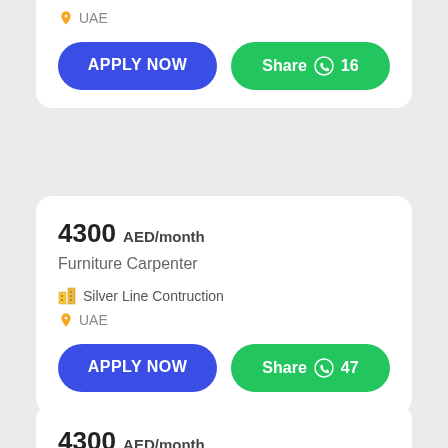UAE
APPLY NOW
Share 16
4300 AED/month
Furniture Carpenter
Silver Line Contruction
UAE
APPLY NOW
Share 47
4300 AED/month
Decoration Carpenter